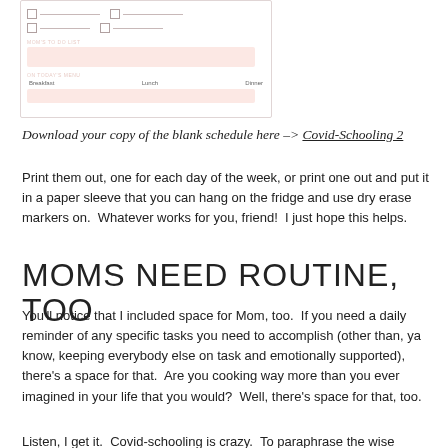[Figure (illustration): Partial view of a Covid-Schooling daily schedule printable, showing checkboxes, a pink 'Mom's To Do List' section, and an 'On Today's Menu' section with Breakfast, Lunch, Dinner fields.]
Download your copy of the blank schedule here –> Covid-Schooling 2
Print them out, one for each day of the week, or print one out and put it in a paper sleeve that you can hang on the fridge and use dry erase markers on.  Whatever works for you, friend!  I just hope this helps.
MOMS NEED ROUTINE, TOO
You'll notice that I included space for Mom, too.  If you need a daily reminder of any specific tasks you need to accomplish (other than, ya know, keeping everybody else on task and emotionally supported), there's a space for that.  Are you cooking way more than you ever imagined in your life that you would?  Well, there's space for that, too.
Listen, I get it.  Covid-schooling is crazy.  To paraphrase the wise Susan